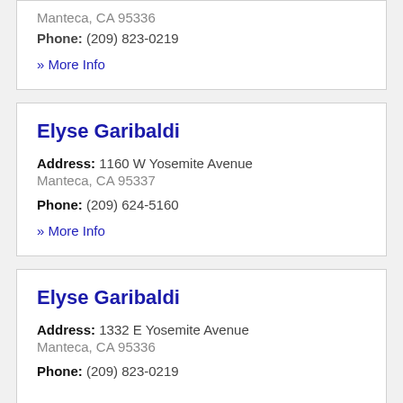Manteca, CA 95336
Phone: (209) 823-0219
» More Info
Elyse Garibaldi
Address: 1160 W Yosemite Avenue
Manteca, CA 95337
Phone: (209) 624-5160
» More Info
Elyse Garibaldi
Address: 1332 E Yosemite Avenue
Manteca, CA 95336
Phone: (209) 823-0219